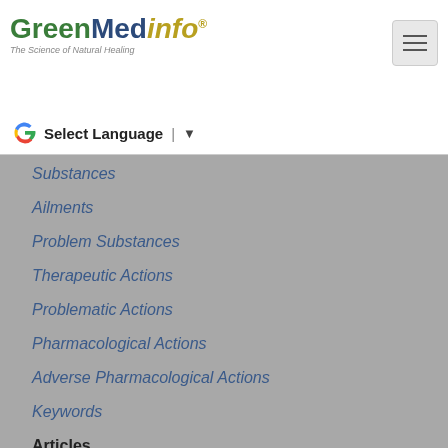GreenMedinfo® The Science of Natural Healing
Select Language
Substances
Ailments
Problem Substances
Therapeutic Actions
Problematic Actions
Pharmacological Actions
Adverse Pharmacological Actions
Keywords
Articles
Most Popular
Most Recent
Join Us
Become a Member